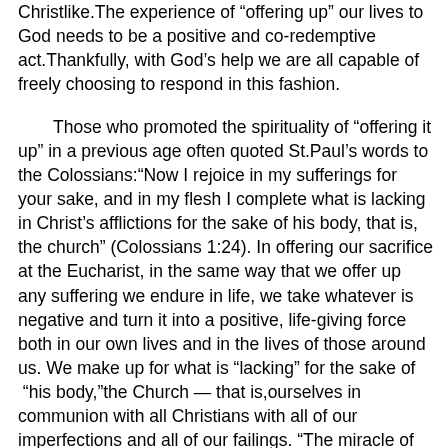Christlike. The experience of "offering up" our lives to God needs to be a positive and co-redemptive act. Thankfully, with God's help we are all capable of freely choosing to respond in this fashion.

Those who promoted the spirituality of "offering it up" in a previous age often quoted St. Paul's words to the Colossians: "Now I rejoice in my sufferings for your sake, and in my flesh I complete what is lacking in Christ's afflictions for the sake of his body, that is, the church" (Colossians 1:24). In offering our sacrifice at the Eucharist, in the same way that we offer up any suffering we endure in life, we take whatever is negative and turn it into a positive, life-giving force both in our own lives and in the lives of those around us. We make up for what is "lacking" for the sake of "his body," the Church — that is, ourselves in communion with all Christians with all of our imperfections and all of our failings. "The miracle of the church assembly lies in that it is not the 'sum' of the sinful and unworthy people who comprise it, but the body of Christ," Father Alexander Schmemann remarked.³ This is the power of the cross of Jesus Christ, taking what appears to be